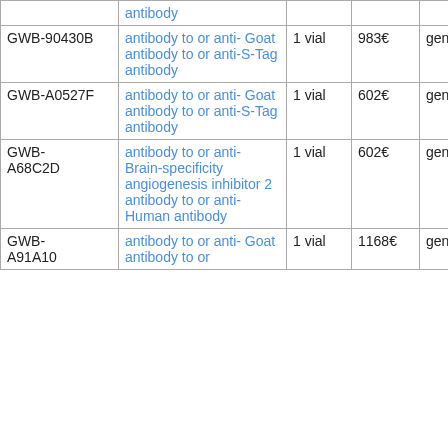|  | antibody |  |  |  |  |
| GWB-90430B | antibody to or anti- Goat antibody to or anti-S-Tag antibody | 1 vial | 983€ | genways | human |
| GWB-A0527F | antibody to or anti- Goat antibody to or anti-S-Tag antibody | 1 vial | 602€ | genways | human |
| GWB-A68C2D | antibody to or anti- Brain-specificity angiogenesis inhibitor 2 antibody to or anti-Human antibody | 1 vial | 602€ | genways | human |
| GWB-A91A10 | antibody to or anti- Goat antibody to or | 1 vial | 1168€ | genways | human |